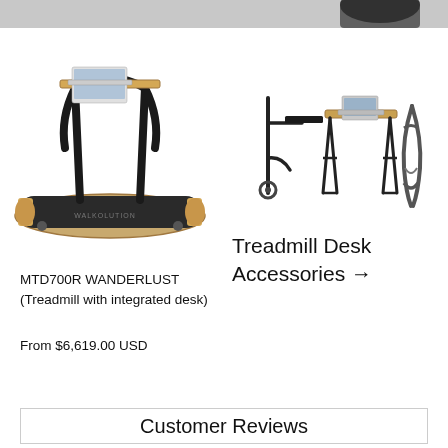[Figure (photo): Top partial image of a treadmill desk product, cropped at top of page]
[Figure (photo): MTD700R WANDERLUST treadmill with integrated desk - side view showing wooden treadmill base, black metal frame handles, and small integrated wooden desk surface with laptop]
MTD700R WANDERLUST (Treadmill with integrated desk)
From $6,619.00 USD
[Figure (photo): Three treadmill desk accessories shown: a cantilevered desk mount, a standing desk with wooden legs and laptop, and a curved treadmill base without handles]
Treadmill Desk Accessories →
Customer Reviews